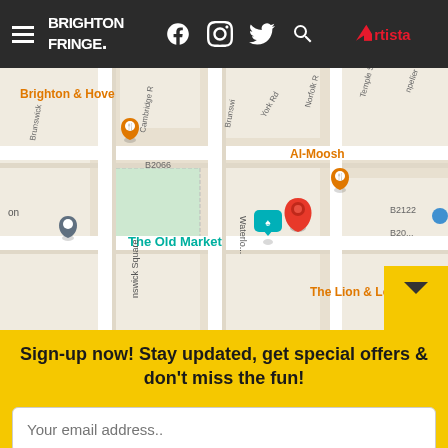Brighton Fringe | Artista — navigation header with social icons
[Figure (map): Google Maps screenshot showing Brighton & Hove area near The Old Market on Waterloo Street, with map pins for Al-Moosh, The Lion & Lobster, and other nearby venues. Route B2066, B2122 visible. A red pin marks the main location near Waterloo Street.]
Sign-up now! Stay updated, get special offers & don't miss the fun!
Your email address..
Subscribe